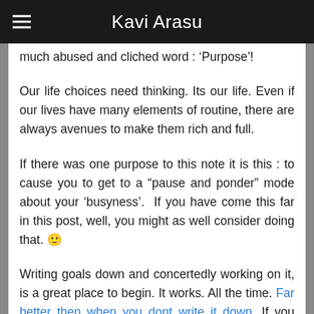Kavi Arasu
much abused and cliched word : ‘Purpose’!
Our life choices need thinking. Its our life. Even if our lives have many elements of routine, there are always avenues to make them rich and full.
If there was one purpose to this note it is this : to cause you to get to a “pause and ponder” mode about your ‘busyness’.  If you have come this far in this post, well, you might as well consider doing that. 🙂
Writing goals down and concertedly working on it, is a great place to begin. It works. All the time. Far better then when you dont write it down. If you have the time that is. Writing